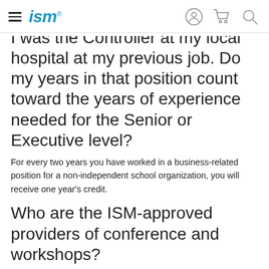ism
I was the Controller at my local hospital at my previous job. Do my years in that position count toward the years of experience needed for the Senior or Executive level?
For every two years you have worked in a business-related position for a non-independent school organization, you will receive one year's credit.
Who are the ISM-approved providers of conference and workshops?
NBOA, MISBO/TAIS, and PAISBOA are the most prominent